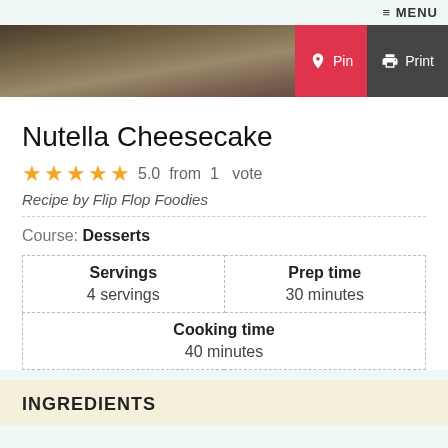≡ MENU
[Figure (photo): Hero food photo with chocolate chips/nuts, overlaid with red Pin button and dark Print button]
Nutella Cheesecake
5.0 from 1 vote
Recipe by Flip Flop Foodies
Course: Desserts
| Servings | Prep time |
| --- | --- |
| 4 servings | 30 minutes |
| Cooking time |  |
| 40 minutes |  |
INGREDIENTS